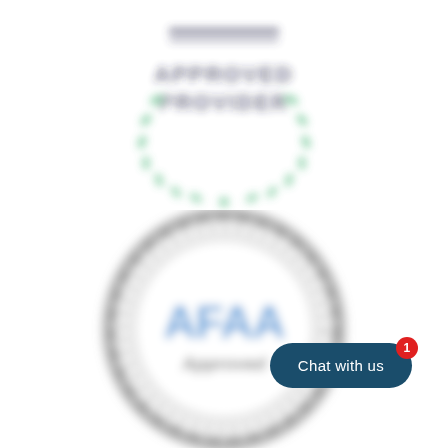[Figure (logo): Approved Provider badge with green laurel wreath border, text 'APPROVED PROVIDER' in dark letters, blurred/out-of-focus appearance]
[Figure (logo): AFAA (Aerobics and Fitness Association of America) circular seal badge in gray tones with 'AFAA' in blue letters and 'Approved' text below, blurred/out-of-focus appearance]
Chat with us